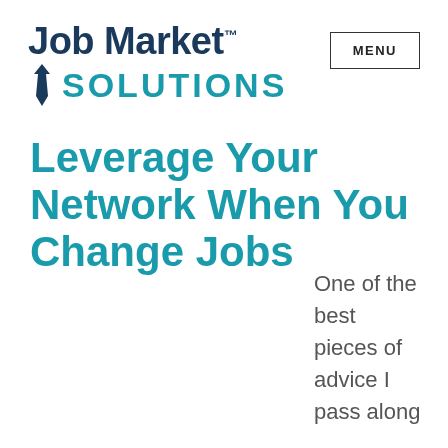[Figure (logo): Job Market Solutions logo with navy text 'Job Market' with TM mark and teal 'SOLUTIONS' text with tie icon]
Leverage Your Network When You Change Jobs
One of the best pieces of advice I pass along